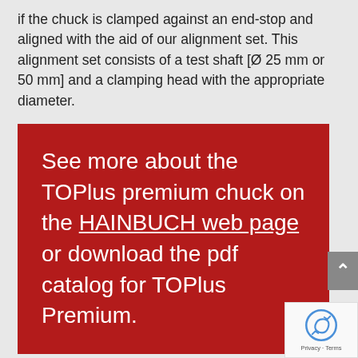if the chuck is clamped against an end-stop and aligned with the aid of our alignment set. This alignment set consists of a test shaft [Ø 25 mm or 50 mm] and a clamping head with the appropriate diameter.
See more about the TOPlus premium chuck on the HAINBUCH web page or download the pdf catalog for TOPlus Premium.